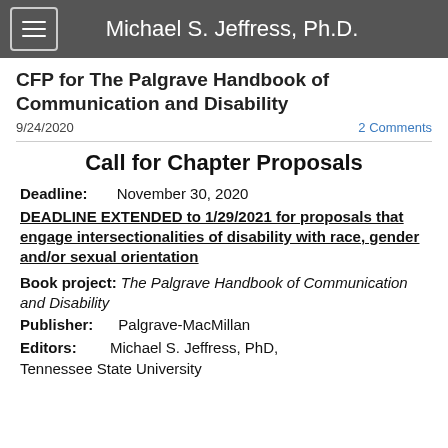Michael S. Jeffress, Ph.D.
CFP for The Palgrave Handbook of Communication and Disability
9/24/2020
2 Comments
Call for Chapter Proposals
Deadline:    November 30, 2020
DEADLINE EXTENDED to 1/29/2021 for proposals that engage intersectionalities of disability with race, gender and/or sexual orientation
Book project: The Palgrave Handbook of Communication and Disability
Publisher:    Palgrave-MacMillan
Editors:    Michael S. Jeffress, PhD, Tennessee State University